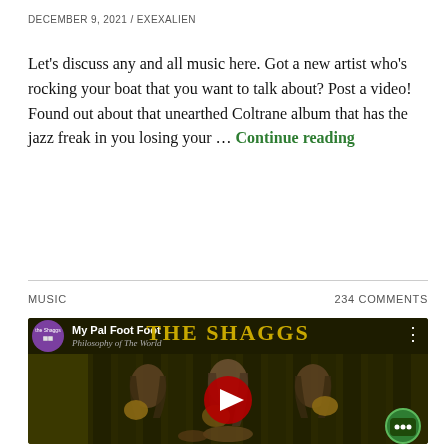DECEMBER 9, 2021 / EXEXALIEN
Let's discuss any and all music here. Got a new artist who's rocking your boat that you want to talk about? Post a video! Found out about that unearthed Coltrane album that has the jazz freak in you losing your … Continue reading
MUSIC
234 COMMENTS
[Figure (screenshot): YouTube video thumbnail for The Shaggs - My Pal Foot Foot, from the album Philosophy of The World. Shows three long-haired women playing guitars on a dark stage with olive/dark yellow background. A red YouTube play button is centered on the image. A green chat bubble icon appears in the bottom right corner.]